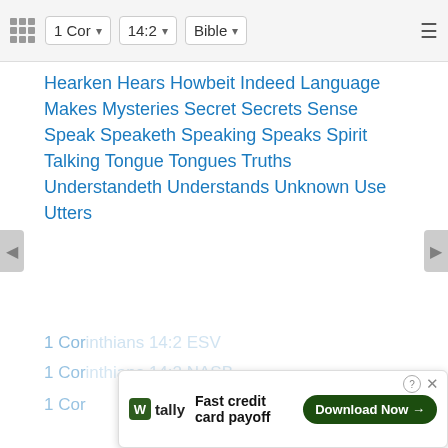1 Cor | 14:2 | Bible
Hearken Hears Howbeit Indeed Language Makes Mysteries Secret Secrets Sense Speak Speaketh Speaking Speaks Spirit Talking Tongue Tongues Truths Understandeth Understands Unknown Use Utters
Links
1 Corinthians 14:2 NIV
1 Corinthians 14:2 NLT
1 Corinthians 14:2 ESV
1 Corinthians 14:2 NASB
1 Corinthians 14:2 KJV
1 Corinthians 14:2 BibleApps.com
1 Corinthians 14:2 Biblia Paralela
[Figure (screenshot): Advertisement banner: tally app - Fast credit card payoff - Download Now button]